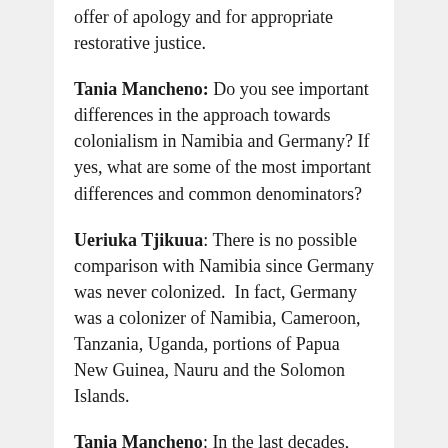offer of apology and for appropriate restorative justice.
Tania Mancheno: Do you see important differences in the approach towards colonialism in Namibia and Germany? If yes, what are some of the most important differences and common denominators?
Ueriuka Tjikuua: There is no possible comparison with Namibia since Germany was never colonized.  In fact, Germany was a colonizer of Namibia, Cameroon, Tanzania, Uganda, portions of Papua New Guinea, Nauru and the Solomon Islands.
Tania Mancheno: In the last decades, the colonial legacy of the museum has become a topic, which is being discussed in Germany by political